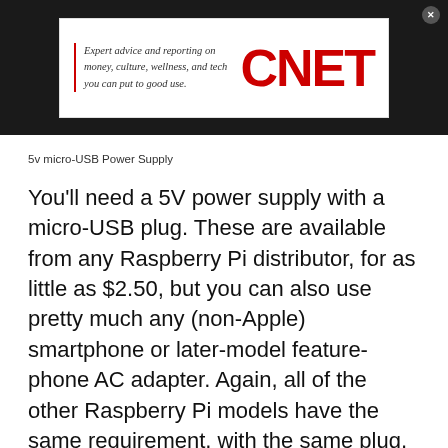[Figure (logo): CNET advertisement banner with italic text 'Expert advice and reporting on money, culture, wellness, and tech you can put to good use.' alongside bold red CNET logo]
5v micro-USB Power Supply
You'll need a 5V power supply with a micro-USB plug. These are available from any Raspberry Pi distributor, for as little as $2.50, but you can also use pretty much any (non-Apple) smartphone or later-model feature-phone AC adapter. Again, all of the other Raspberry Pi models have the same requirement, with the same plug, so there's no difference in requirement or cost here.